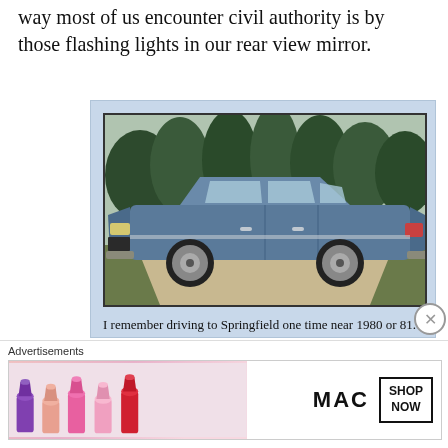way most of us encounter civil authority is by those flashing lights in our rear view mirror.
[Figure (photo): A blue 1978-79 Chevrolet Caprice or similar full-size sedan parked on a driveway with trees in the background.]
I remember driving to Springfield one time near 1980 or 81. We were going to Branson for a little family vacation. We were in a 1978 or 79 Chevy
Advertisements
[Figure (photo): MAC cosmetics advertisement showing colorful lipsticks on the left, MAC logo in script, and a SHOP NOW box on the right.]